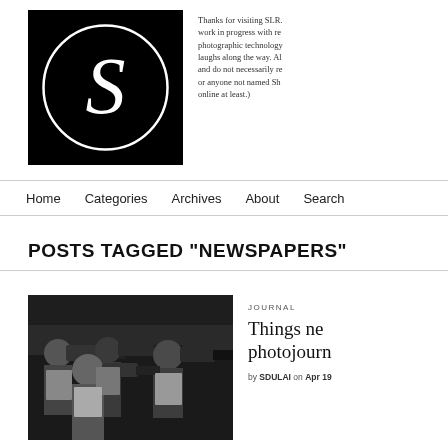[Figure (logo): Black square logo with white circle containing stylized letter S]
Thanks for visiting SLR. work in progress with re photographic technology laughs along the way. Al and do not necessarily re or anyone not named Sh online at least.)
Home   Categories   Archives   About   Search
POSTS TAGGED "NEWSPAPERS"
[Figure (photo): Black and white photo of multiple photographers with large telephoto lenses, crowded together shooting at an event]
JOURNAL
Things ne photojourn
by SDULAI on Apr 19